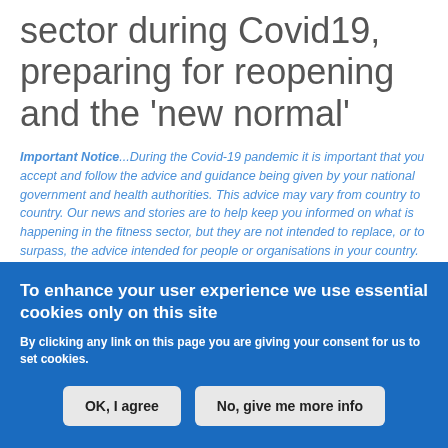sector during Covid19, preparing for reopening and the 'new normal'
Important Notice...During the Covid-19 pandemic it is important that you accept and follow the advice and guidance being given by your national government and health authorities. This advice may vary from country to country. Our news and stories are to help keep you informed on what is happening in the fitness sector, but they are not intended to replace, or to surpass, the advice intended for people or organisations in your country.
European Fitness Club Restrictions
To enhance your user experience we use essential cookies only on this site
By clicking any link on this page you are giving your consent for us to set cookies.
[OK, I agree] [No, give me more info]